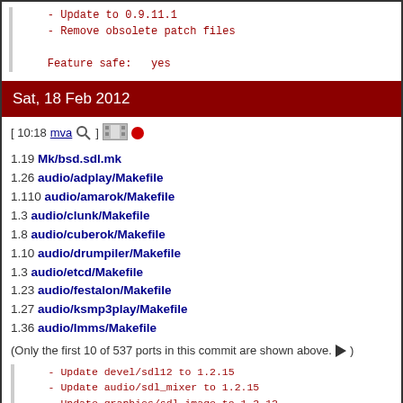- Update to 0.9.11.1
- Remove obsolete patch files

Feature safe:   yes
Sat, 18 Feb 2012
[ 10:18 mva ] [icons]
1.19 Mk/bsd.sdl.mk
1.26 audio/adplay/Makefile
1.110 audio/amarok/Makefile
1.3 audio/clunk/Makefile
1.8 audio/cuberok/Makefile
1.10 audio/drumpiler/Makefile
1.3 audio/etcd/Makefile
1.23 audio/festalon/Makefile
1.27 audio/ksmp3play/Makefile
1.36 audio/lmms/Makefile
(Only the first 10 of 537 ports in this commit are shown above. ►)
- Update devel/sdl12 to 1.2.15
- Update audio/sdl_mixer to 1.2.15
- Update graphics/sdl_image to 1.2.12
- Update graphics/sdl_ttf to 2.0.11
- Update graphics/sdl_gfx to 2.0.23
- Update net/sdl_net to 1.2.8